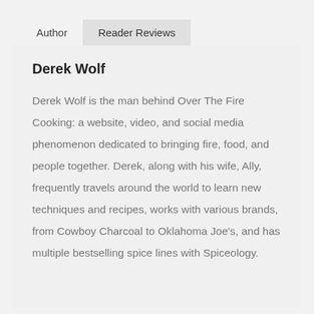Author
Reader Reviews
Derek Wolf
Derek Wolf is the man behind Over The Fire Cooking: a website, video, and social media phenomenon dedicated to bringing fire, food, and people together. Derek, along with his wife, Ally, frequently travels around the world to learn new techniques and recipes, works with various brands, from Cowboy Charcoal to Oklahoma Joe's, and has multiple bestselling spice lines with Spiceology.